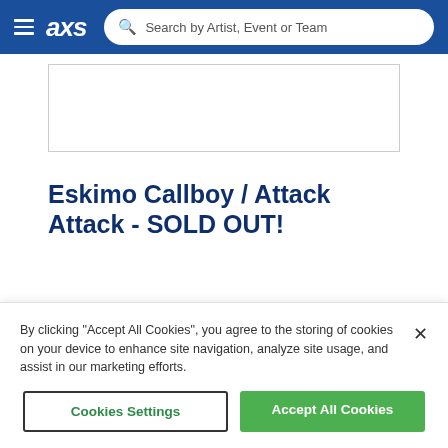axs — Search by Artist, Event or Team
[Figure (other): Image placeholder area with border]
Eskimo Callboy / Attack Attack - SOLD OUT!
[Figure (other): Two tab buttons: dark blue and light blue]
By clicking "Accept All Cookies", you agree to the storing of cookies on your device to enhance site navigation, analyze site usage, and assist in our marketing efforts.
Cookies Settings | Accept All Cookies